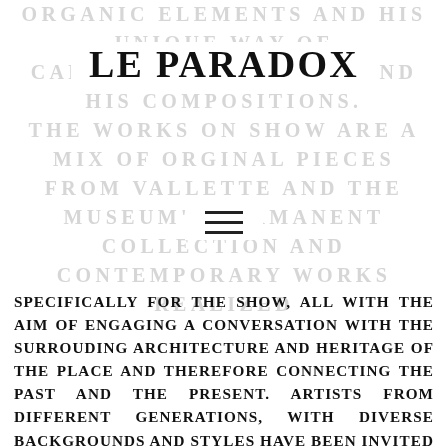ORGANIC ELEMENTS AND HIS UNIQUE WAY OF CAPTURING THE LIGHT AND HIS COMPOSITIONS. THE WORKS ON SHOW ARE A MIX OF ORGINAL PIECES FROM VALLETTE AND THE MUSEUM'S PERMANENT COLLECTION AND CONTEMPORARY WORKS REALIZED
LE PARADOX
[Figure (other): Hamburger menu icon (three horizontal lines)]
SPECIFICALLY FOR THE SHOW, ALL WITH THE AIM OF ENGAGING A CONVERSATION WITH THE SURROUDING ARCHITECTURE AND HERITAGE OF THE PLACE AND THEREFORE CONNECTING THE PAST AND THE PRESENT. ARTISTS FROM DIFFERENT GENERATIONS, WITH DIVERSE BACKGROUNDS AND STYLES HAVE BEEN INVITED TO INTERPRET NATURAL THEMES WHILE RELATING WITH THE VENUE'S HISTORICAL ROOMS.
THE PROJECT IS STRUCTURED IN EIGHT DIFFERENT CHAPTERS, EACH ONE DEDICATED TO A SINGLE ARTIST AND HIS TAKES ON NATURAL SUBJECTS. THE